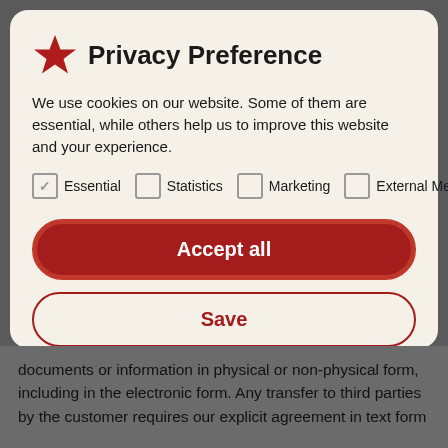Privacy Preference
We use cookies on our website. Some of them are essential, while others help us to improve this website and your experience.
Essential (checked), Statistics (unchecked), Marketing (unchecked), External Media (unchecked)
Accept all
Save
Individual Privacy Preferences
documents or information in physical or non-physical form, including in the electronic form. Any transfer to third parties by the customer requires our explicit agreement in text form